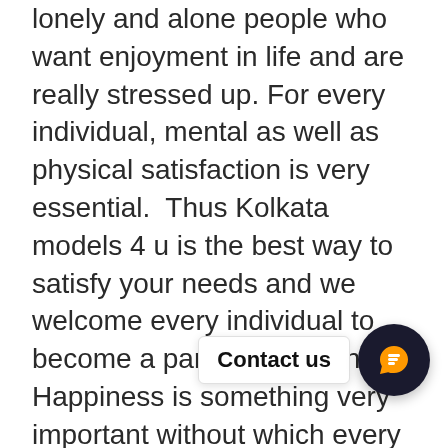lonely and alone people who want enjoyment in life and are really stressed up. For every individual, mental as well as physical satisfaction is very essential. Thus Kolkata models 4 u is the best way to satisfy your needs and we welcome every individual to become a part of our agency. Happiness is something very important without which every person cannot survive.
If you are not happy from inside, one will automatically figure out your sorrow on your face. Whereas, if you are leading a happy life nothing can stop you from showing your happy face to others. It will grow with your smile. Likewise, we came up with a huge varieties of female escorts in kolkata who are not only beautiful but also well groomed and well mannered. Our collection includes marwari bhabhis, bengali housewives, vip models, college girls are so on. I a available who belong to russia and spain. Thus hurry up and gather the knowledge of different independent